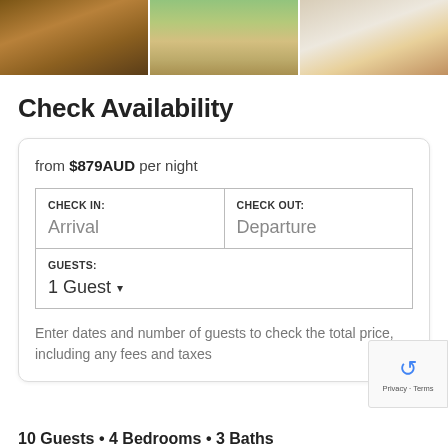[Figure (photo): Three horizontal property photos: dining area with wooden table, outdoor beach/garden area, modern living room with orange cushions]
Check Availability
from $879AUD per night
| CHECK IN: | CHECK OUT: |
| --- | --- |
| Arrival | Departure |
| GUESTS:
1 Guest ▾ |  |
Enter dates and number of guests to check the total price, including any fees and taxes
10 Guests • 4 Bedrooms • 3 Baths